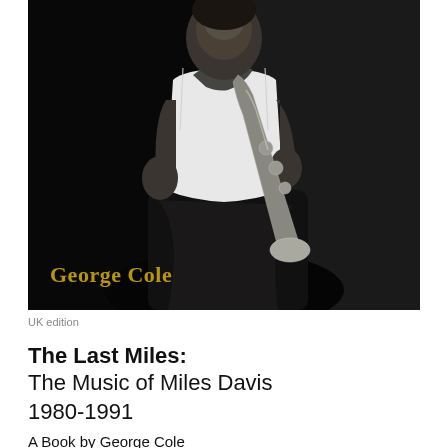[Figure (photo): Black and white photograph of Miles Davis holding a saxophone or trumpet, wearing a white tank top and a scarf around his neck, against a dark background. The name 'George Cole' appears in gold/yellow text at the bottom left of the image.]
UK edition
The Last Miles:
The Music of Miles Davis
1980-1991
A Book by George Cole